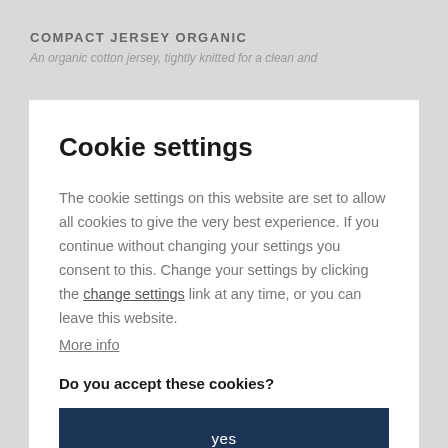COMPACT JERSEY ORGANIC
An organic cotton jersey, tightly knitted for a clean and
Cookie settings
The cookie settings on this website are set to allow all cookies to give the very best experience. If you continue without changing your settings you consent to this. Change your settings by clicking the change settings link at any time, or you can leave this website.
More info
Do you accept these cookies?
yes
Where is it made?
WASHING INSTRUCTIONS